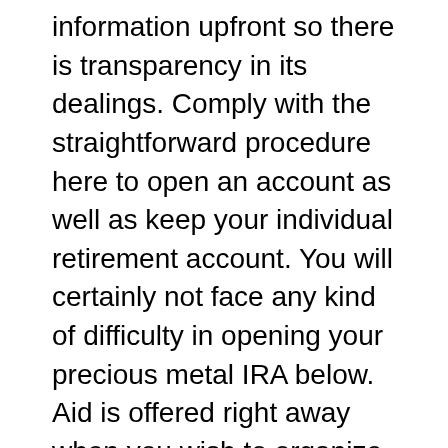information upfront so there is transparency in its dealings. Comply with the straightforward procedure here to open an account as well as keep your individual retirement account. You will certainly not face any kind of difficulty in opening your precious metal IRA below. Aid is offered right away when you wish to organize your individual retirement account. Obtain customized services for your financial and also financial investment needs. It is a relied on location to down payment funds in IRAs.
Its precious metal investment products for pension are quite preferred among pension fund investors. Make use of these investment products to diversify your portfolio. You will not miss out restrict the